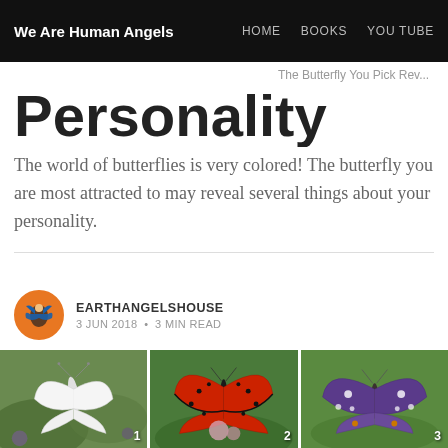We Are Human Angels | HOME  BOOKS  YOU TUBE
Personality
The world of butterflies is very colored! The butterfly you are most attracted to may reveal several things about your personality.
EARTHANGELSHOUSE
3 JUN 2018  •  3 MIN READ
[Figure (photo): Grid of butterfly photos: white butterfly (1), red butterfly (2), purple butterfly (3), and partial bottom row]
The Butterfly You Pick Rev...